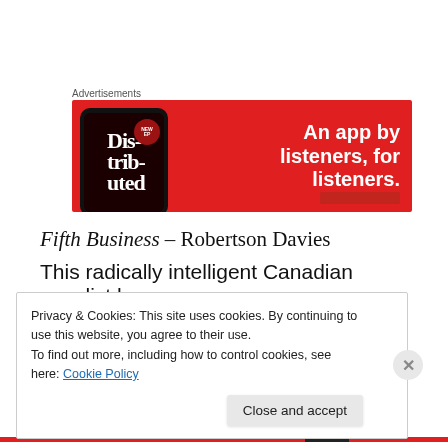Advertisements
[Figure (illustration): Red advertisement banner for a podcast/audio app showing a smartphone with 'Distributed' text on screen and the tagline 'An app by listeners, for listeners.' on a red background]
Fifth Business – Robertson Davies
This radically intelligent Canadian novelist has
Privacy & Cookies: This site uses cookies. By continuing to use this website, you agree to their use.
To find out more, including how to control cookies, see here: Cookie Policy
Close and accept